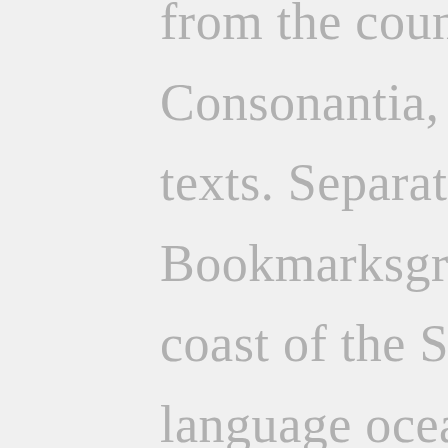from the countries Vokalia and Consonantia, there live the blind texts. Separated they live in Bookmarksgrove right at the coast of the Semantics, a large language ocean. A small river named Duden flows by their place and supplies it with the necessary regelialia. It is a paradisematic country, in which roasted parts of sentences fly into your mouth. Even the all-powerful Pointing has no control about the blind texts it is an almost unorthographic life One day however a small line of blind text by the name of Lorem Ipsum decided to leave for the far World of Grammar. The Big Oxmox advised her not to do so, because there were thousands of bad Commas, wild Question Marks and devious Semikoli, but the Little Blind Text didn't listen.